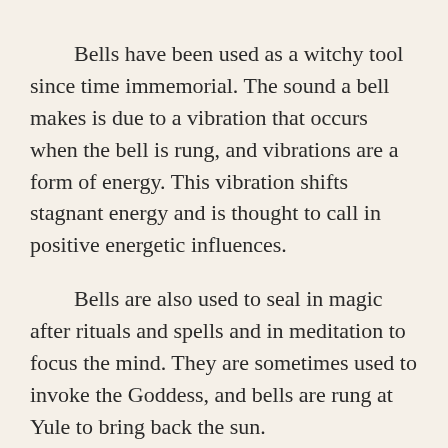Bells have been used as a witchy tool since time immemorial. The sound a bell makes is due to a vibration that occurs when the bell is rung, and vibrations are a form of energy. This vibration shifts stagnant energy and is thought to call in positive energetic influences.
Bells are also used to seal in magic after rituals and spells and in meditation to focus the mind. They are sometimes used to invoke the Goddess, and bells are rung at Yule to bring back the sun.
It is also believed that evil spirits are driven away by the sound of bells because they cannot be near their beautiful sound.